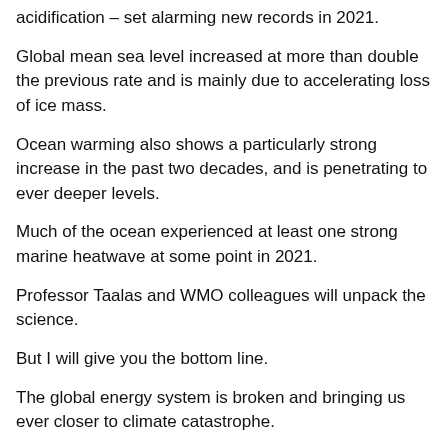acidification – set alarming new records in 2021.
Global mean sea level increased at more than double the previous rate and is mainly due to accelerating loss of ice mass.
Ocean warming also shows a particularly strong increase in the past two decades, and is penetrating to ever deeper levels.
Much of the ocean experienced at least one strong marine heatwave at some point in 2021.
Professor Taalas and WMO colleagues will unpack the science.
But I will give you the bottom line.
The global energy system is broken and bringing us ever closer to climate catastrophe.
Fossil fuels are a dead end — environmentally and economically.
The war in Ukraine and its immediate effects on energy prices is yet another wake-up call.
The only sustainable future is a renewable one.
We must end fossil fuel pollution and accelerate the renewable energy transition, before we incinerate our only home.